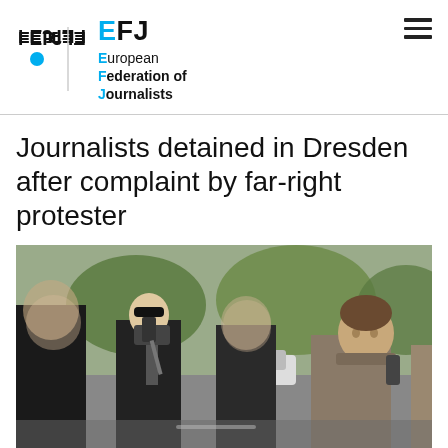[Figure (logo): EFJ / FEP European Federation of Journalists logo with blue and black text]
Journalists detained in Dresden after complaint by far-right protester
[Figure (photo): Outdoor scene showing several people including a man holding a camera/microphone and another man on the right, with blurred faces on some individuals, in a parking area with trees in background]